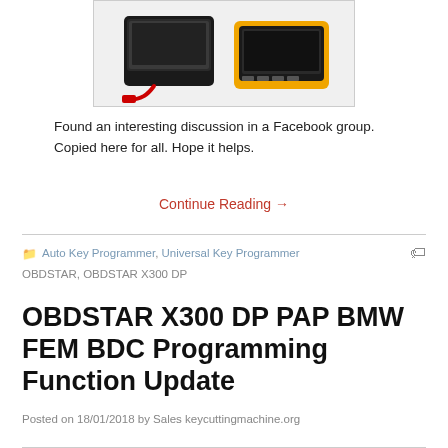[Figure (photo): Photo of two automotive diagnostic/key programming devices - one with a red connector cable and a touchscreen, another with a yellow and black rugged case]
Found an interesting discussion in a Facebook group. Copied here for all. Hope it helps.
Continue Reading →
Auto Key Programmer, Universal Key Programmer OBDSTAR, OBDSTAR X300 DP
OBDSTAR X300 DP PAP BMW FEM BDC Programming Function Update
Posted on 18/01/2018 by Sales keycuttingmachine.org